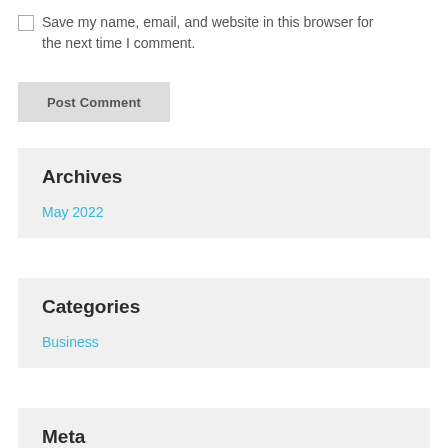Save my name, email, and website in this browser for the next time I comment.
Post Comment
Archives
May 2022
Categories
Business
Meta